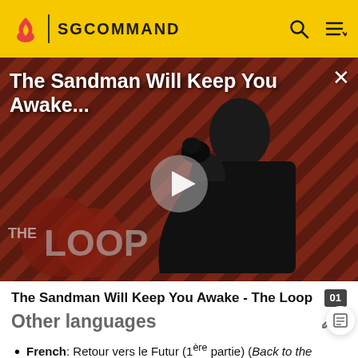SGCOMMAND
[Figure (screenshot): Video thumbnail showing a man in black cape against a red diagonal-striped background, with The Loop logo. Title overlay: 'The Sandman Will Keep You Awake...' with play button.]
The Sandman Will Keep You Awake - The Loop
Other languages
French: Retour vers le Futur (1ère partie) (Back to the Future (part 1))